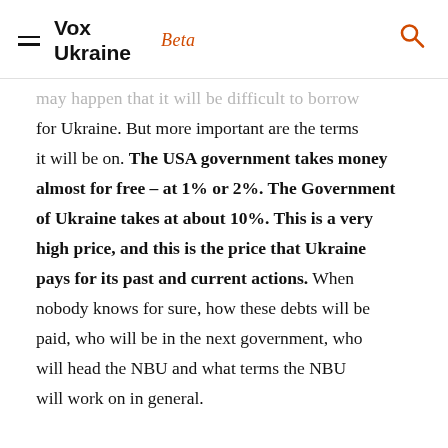Vox Ukraine Beta
may happen that it will be difficult to borrow for Ukraine. But more important are the terms it will be on. The USA government takes money almost for free – at 1% or 2%. The Government of Ukraine takes at about 10%. This is a very high price, and this is the price that Ukraine pays for its past and current actions. When nobody knows for sure, how these debts will be paid, who will be in the next government, who will head the NBU and what terms the NBU will work on in general.